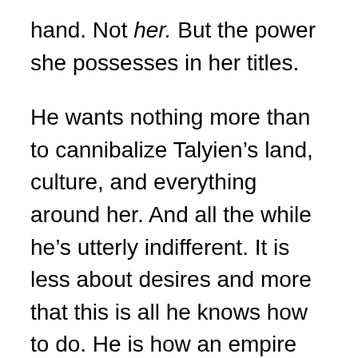hand. Not her. But the power she possesses in her titles.
He wants nothing more than to cannibalize Talyien’s land, culture, and everything around her. And all the while he’s utterly indifferent. It is less about desires and more that this is all he knows how to do. He is how an empire shows its love.
He is a barely-held-together corpse that embodies every ideal Empires advocate, right down to the very fact that he is decomposing. He is falling apart at the seams. He is a